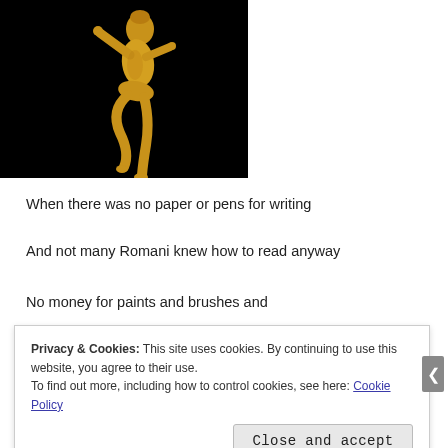[Figure (photo): A golden statue/figurine of a dancing human figure against a black background, photographed from the side, showing the figure in a dynamic pose with one leg raised.]
When there was no paper or pens for writing
And not many Romani knew how to read anyway
No money for paints and brushes and
Privacy & Cookies: This site uses cookies. By continuing to use this website, you agree to their use.
To find out more, including how to control cookies, see here: Cookie Policy
Close and accept